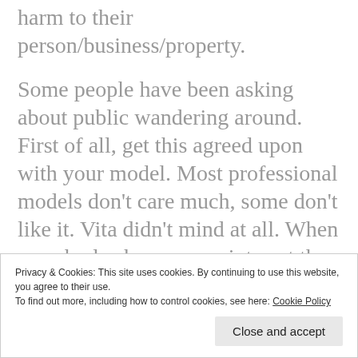harm to their person/business/property.
Some people have been asking about public wandering around. First of all, get this agreed upon with your model. Most professional models don't care much, some don't like it. Vita didn't mind at all. When somebody shows more interest than normal, I just go to them an say hello. I do a little chit-chat and then I give them one of my business cards and mostly they disappear after that, or they take some more (comfortable) distance. Some even send
Privacy & Cookies: This site uses cookies. By continuing to use this website, you agree to their use.
To find out more, including how to control cookies, see here: Cookie Policy
Close and accept